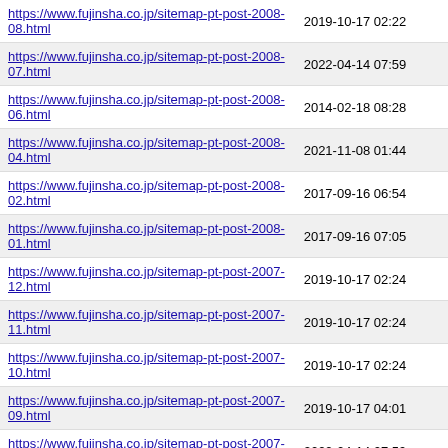| URL | Date |
| --- | --- |
| https://www.fujinsha.co.jp/sitemap-pt-post-2008-08.html | 2019-10-17 02:22 |
| https://www.fujinsha.co.jp/sitemap-pt-post-2008-07.html | 2022-04-14 07:59 |
| https://www.fujinsha.co.jp/sitemap-pt-post-2008-06.html | 2014-02-18 08:28 |
| https://www.fujinsha.co.jp/sitemap-pt-post-2008-04.html | 2021-11-08 01:44 |
| https://www.fujinsha.co.jp/sitemap-pt-post-2008-02.html | 2017-09-16 06:54 |
| https://www.fujinsha.co.jp/sitemap-pt-post-2008-01.html | 2017-09-16 07:05 |
| https://www.fujinsha.co.jp/sitemap-pt-post-2007-12.html | 2019-10-17 02:24 |
| https://www.fujinsha.co.jp/sitemap-pt-post-2007-11.html | 2019-10-17 02:24 |
| https://www.fujinsha.co.jp/sitemap-pt-post-2007-10.html | 2019-10-17 02:24 |
| https://www.fujinsha.co.jp/sitemap-pt-post-2007-09.html | 2019-10-17 04:01 |
| https://www.fujinsha.co.jp/sitemap-pt-post-2007-08.html | 2022-04-14 07:59 |
| https://www.fujinsha.co.jp/sitemap-pt-post-2007-07.html | 2017-06-28 12:27 |
| https://www.fujinsha.co.jp/sitemap-pt-post-2007-06.html | 2017-06-28 12:28 |
| https://www.fujinsha.co.jp/sitemap-pt-post-2007-05.html | 2022-04-14 08:00 |
| https://www.fujinsha.co.jp/sitemap-pt-post-2007-04.html | 2020-05-23 02:17 |
| https://www.fujinsha.co.jp/sitemap-pt-post-2006-12.html | 2017-07-17 09:16 |
| https://www.fujinsha.co.jp/sitemap-pt-post-2006-11.html | 2022-05-05 08:59 |
| https://www.fujinsha.co.jp/sitemap-pt-post-2006-10.html | 2022-05-05 09:00 |